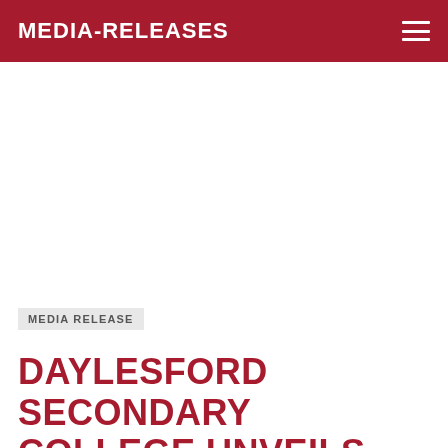MEDIA-RELEASES
MEDIA RELEASE
DAYLESFORD SECONDARY COLLEGE UNVEILS $10 MILLION UPGRADE
JULY 8, 2019